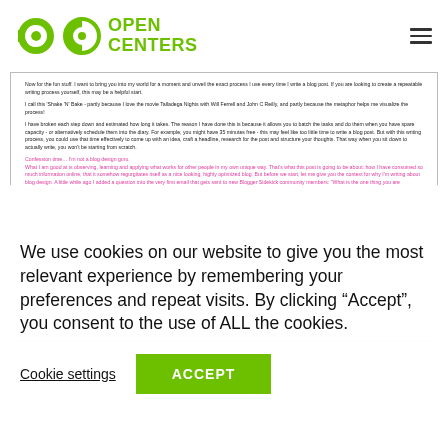Open Centers
[Figure (screenshot): Screenshot of a blog page with text about a writing process called 'Shake N Bake' and pink highlighted text about blog design confession.]
We use cookies on our website to give you the most relevant experience by remembering your preferences and repeat visits. By clicking “Accept”, you consent to the use of ALL the cookies.
Cookie settings
ACCEPT